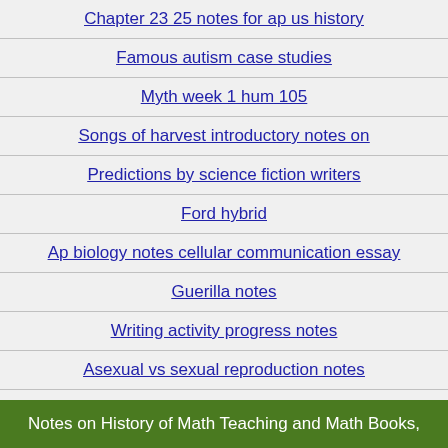Chapter 23 25 notes for ap us history
Famous autism case studies
Myth week 1 hum 105
Songs of harvest introductory notes on
Predictions by science fiction writers
Ford hybrid
Ap biology notes cellular communication essay
Guerilla notes
Writing activity progress notes
Asexual vs sexual reproduction notes
Notes on History of Math Teaching and Math Books,